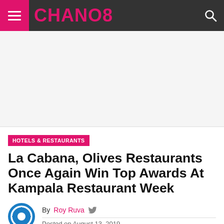CHANO8
[Figure (other): Advertisement banner area]
HOTELS & RESTAURANTS
La Cabana, Olives Restaurants Once Again Win Top Awards At Kampala Restaurant Week
By Roy Ruva
Posted on August 13, 2019